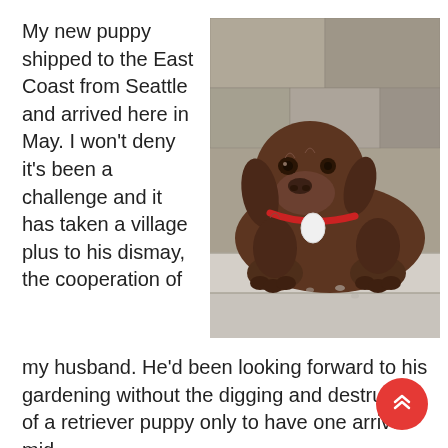My new puppy shipped to the East Coast from Seattle and arrived here in May. I won't deny it's been a challenge and it has taken a village plus to his dismay, the cooperation of my husband. He'd been looking forward to his gardening without the digging and destruction of a retriever puppy only to have one arrive mid-
[Figure (photo): A chocolate Labrador retriever puppy with a red collar and white tag, lying on stone steps, looking at the camera.]